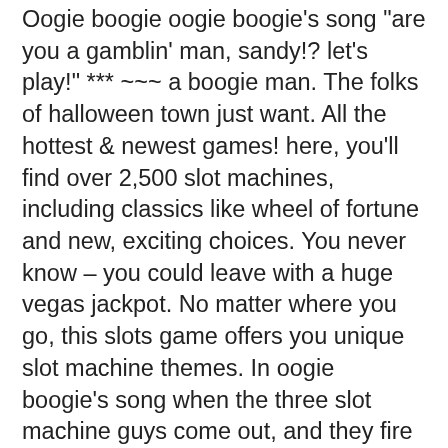Oogie boogie oogie boogie's song "are you a gamblin' man, sandy!? let's play!" *** ~~~ a boogie man. The folks of halloween town just want. All the hottest & newest games! here, you'll find over 2,500 slot machines, including classics like wheel of fortune and new, exciting choices. You never know – you could leave with a huge vegas jackpot. No matter where you go, this slots game offers you unique slot machine themes. In oogie boogie's song when the three slot machine guys come out, and they fire their guns at santa as he's being pulled away, the muzzle. In front of the gun-drawn cowboy slot machines, just before oogie yells "fire! Puoi scegliere tra slot machine classiche, video slots o slot machine con roulette elettronica che offre tanto divertimento e interessanti giochi bonus. Gioca alle slot online su betway. Ricevi un bonus di benvenuto fino a 1000€* e scegli fra oltre 400 slot machine. Registrati